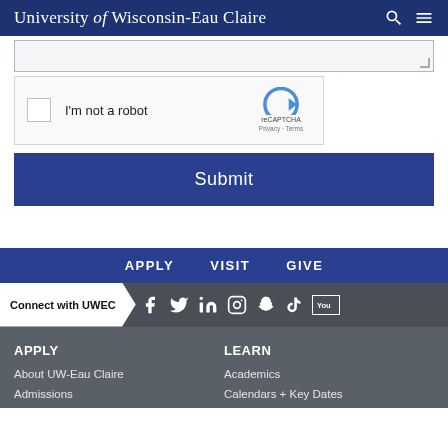University of Wisconsin-Eau Claire
[Figure (screenshot): Textarea form field with resize handle, partially visible at top]
[Figure (screenshot): reCAPTCHA widget with checkbox labeled I'm not a robot, reCAPTCHA logo, Privacy and Terms links]
Submit
APPLY   VISIT   GIVE
Connect with UWEC — social media icons: Facebook, Twitter, LinkedIn, Instagram, Snapchat, TikTok, YouTube
APPLY
About UW-Eau Claire
Admissions
LEARN
Academics
Calendars + Key Dates